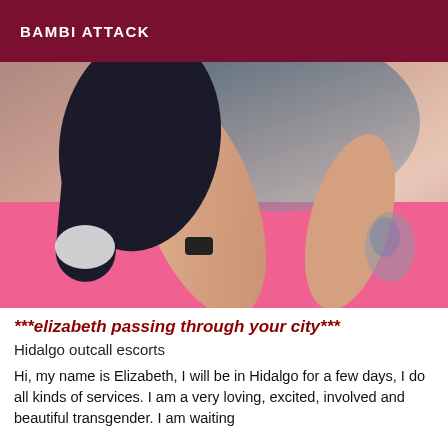BAMBI ATTACK
[Figure (photo): Person with dark hair and tattoos posing on a pink bed surface, wearing a dark top, viewed from above at an angle.]
***elizabeth passing through your city***
Hidalgo outcall escorts
Hi, my name is Elizabeth, I will be in Hidalgo for a few days, I do all kinds of services. I am a very loving, excited, involved and beautiful transgender. I am waiting for you to come see me and I will kindly...